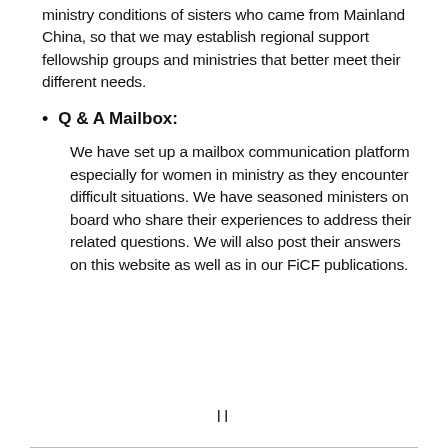ministry conditions of sisters who came from Mainland China, so that we may establish regional support fellowship groups and ministries that better meet their different needs.
Q & A Mailbox: We have set up a mailbox communication platform especially for women in ministry as they encounter difficult situations. We have seasoned ministers on board who share their experiences to address their related questions. We will also post their answers on this website as well as in our FiCF publications.
II